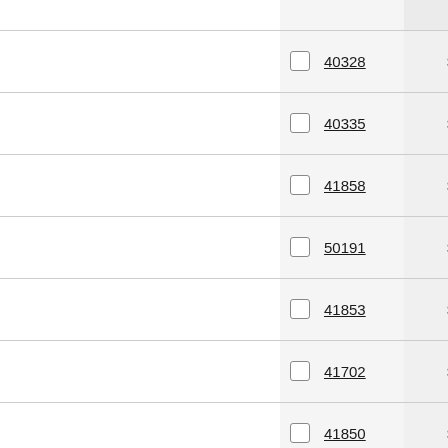|  |  | ID | Type | Status |
| --- | --- | --- | --- | --- |
|  |  | 40328 | Story | N… |
|  |  | 40335 | Story | N… |
|  |  | 41858 | Story | N… |
|  |  | 50191 | Story | Acco… |
|  |  | 41853 | Story | N… |
|  |  | 41702 | Story | N… |
|  |  | 41850 | Story | N… |